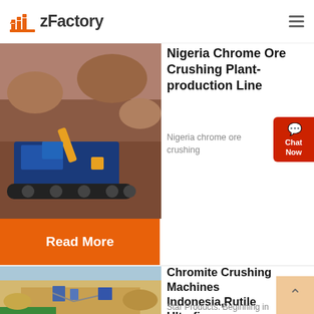zFactory
[Figure (photo): Mining crushing machine (blue crawler-mounted jaw crusher) working at a rock quarry site]
Nigeria Chrome Ore Crushing Plant-production Line
Nigeria chrome ore crushing
Read More
[Figure (photo): Open pit quarry mining site with machinery and yellow sandy terrain]
Chromite Crushing Machines Indonesia,Rutile Ultrafine ...
Star Products. Beginning in 1987,...